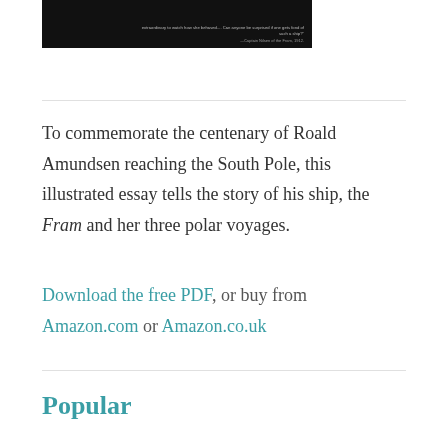[Figure (photo): Black and white image (partial), appears to be a book cover or photograph related to a polar expedition ship, with small caption text visible at the bottom right reading '—Captain Nilsen of the Fram, 1912.']
To commemorate the centenary of Roald Amundsen reaching the South Pole, this illustrated essay tells the story of his ship, the Fram and her three polar voyages.
Download the free PDF, or buy from Amazon.com or Amazon.co.uk
Popular